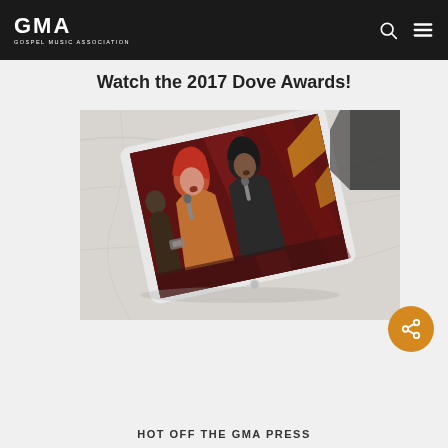GMA — GOSPEL MUSIC ASSOCIATION
Watch the 2017 Dove Awards!
[Figure (photo): A tablet device displaying two female performers singing on stage at the 2017 Dove Awards, with one performer having red hair wearing a sparkly outfit and another in dark clothing, placed on a marble surface.]
HOT OFF THE GMA PRESS